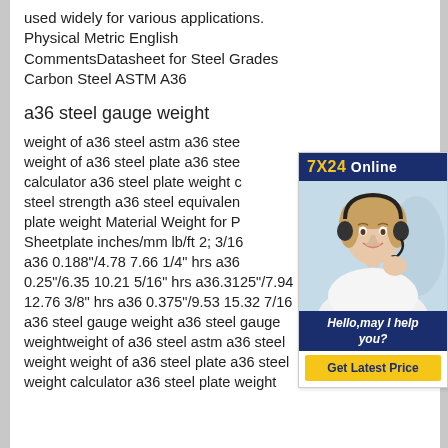used widely for various applications. Physical Metric English CommentsDatasheet for Steel Grades Carbon Steel ASTM A36
a36 steel gauge weight
weight of a36 steel astm a36 steel weight of a36 steel plate a36 steel calculator a36 steel plate weight c steel strength a36 steel equivalent plate weight Material Weight for P Sheetplate inches/mm lb/ft 2; 3/16 a36 0.188"/4.78 7.66 1/4" hrs a36 0.25"/6.35 10.21 5/16" hrs a36.3125"/7.94 12.76 3/8" hrs a36 0.375"/9.53 15.32 7/16 a36 steel gauge weight a36 steel gauge weightweight of a36 steel astm a36 steel weight weight of a36 steel plate a36 steel weight calculator a36 steel plate weight
[Figure (photo): Customer service representative wearing a headset, smiling, with a 7X24 Online banner and Hello, may I help you? text and Get Latest Price button on a dark blue background.]